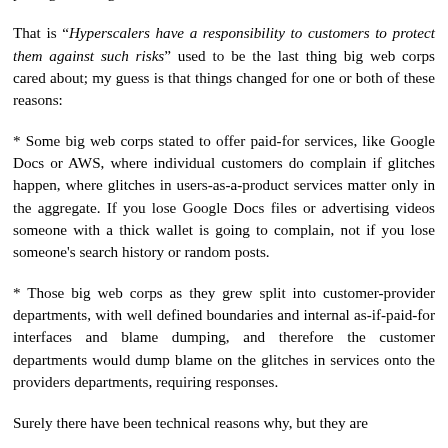package is doing well'.
That is “Hyperscalers have a responsibility to customers to protect them against such risks” used to be the last thing big web corps cared about; my guess is that things changed for one or both of these reasons:
* Some big web corps stated to offer paid-for services, like Google Docs or AWS, where individual customers do complain if glitches happen, where glitches in users-as-a-product services matter only in the aggregate. If you lose Google Docs files or advertising videos someone with a thick wallet is going to complain, not if you lose someone's search history or random posts.
* Those big web corps as they grew split into customer-provider departments, with well defined boundaries and internal as-if-paid-for interfaces and blame dumping, and therefore the customer departments would dump blame on the glitches in services onto the providers departments, requiring responses.
Surely there have been technical reasons why, but they are